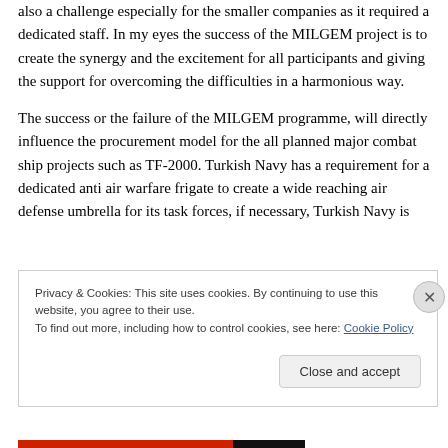also a challenge especially for the smaller companies as it required a dedicated staff. In my eyes the success of the MILGEM project is to create the synergy and the excitement for all participants and giving the support for overcoming the difficulties in a harmonious way.
The success or the failure of the MILGEM programme, will directly influence the procurement model for the all planned major combat ship projects such as TF-2000. Turkish Navy has a requirement for a dedicated anti air warfare frigate to create a wide reaching air defense umbrella for its task forces, if necessary, Turkish Navy is
Privacy & Cookies: This site uses cookies. By continuing to use this website, you agree to their use.
To find out more, including how to control cookies, see here: Cookie Policy